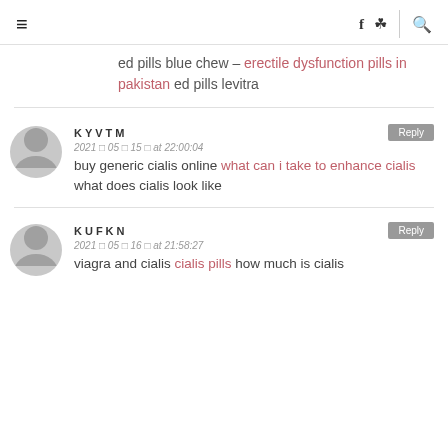≡  f  [instagram]  |  [search]
ed pills blue chew – erectile dysfunction pills in pakistan ed pills levitra
KYVTM  Reply  2021 ▪ 05 ▪ 15 ▪ at 22:00:04  buy generic cialis online what can i take to enhance cialis what does cialis look like
KUFKN  Reply  2021 ▪ 05 ▪ 16 ▪ at 21:58:27  viagra and cialis cialis pills how much is cialis